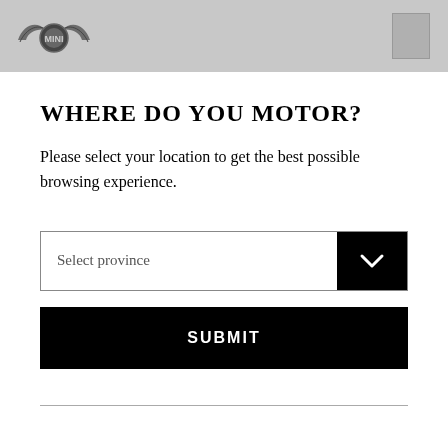[Figure (logo): MINI Cooper winged logo in grayscale on a gray header bar with a small icon on the right]
WHERE DO YOU MOTOR?
Please select your location to get the best possible browsing experience.
[Figure (other): Dropdown selector labeled 'Select province' with a black arrow button on the right]
[Figure (other): Black SUBMIT button]